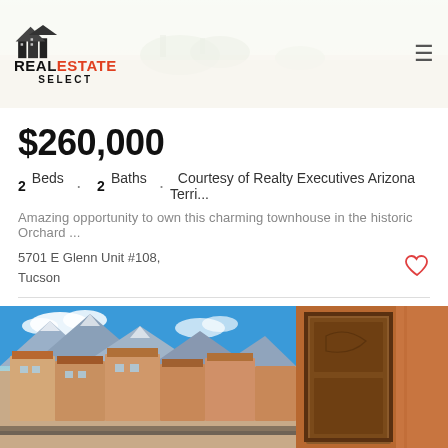[Figure (photo): Top banner photo of desert landscaping with gravel and plants, partially obscured by header overlay]
REAL ESTATE SELECT
$260,000
2 Beds · 2 Baths · Courtesy of Realty Executives Arizona Terri...
Amazing opportunity to own this charming townhouse in the historic Orchard ...
5701 E Glenn Unit #108,
Tucson
Listing courtesy of Realty Executives Arizona Territory.
[Figure (photo): Bottom left: exterior photo of beige/terracotta townhouse buildings with mountains and blue sky in background. Bottom right: close-up of brown wooden door/wall detail.]